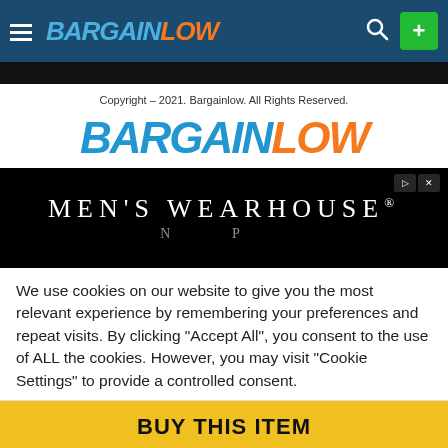BargainLow - navigation header with hamburger menu, logo, search and plus button
[Figure (screenshot): Black navigation bar below header]
Copyright – 2021. Bargainlow. All Rights Reserved.
[Figure (logo): BargainLow large logo - BARGAIN in blue, LOW in orange, italic bold]
[Figure (screenshot): Men's Wearhouse advertisement banner on black background]
We use cookies on our website to give you the most relevant experience by remembering your preferences and repeat visits. By clicking "Accept All", you consent to the use of ALL the cookies. However, you may visit "Cookie Settings" to provide a controlled consent.
[Figure (other): BUY THIS ITEM yellow button bar]